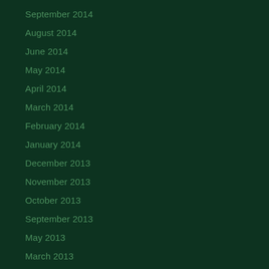September 2014
August 2014
June 2014
May 2014
April 2014
March 2014
February 2014
January 2014
December 2013
November 2013
October 2013
September 2013
May 2013
March 2013
February 2013